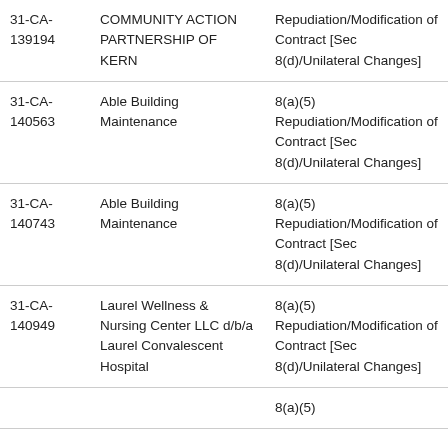| 31-CA-139194 | COMMUNITY ACTION PARTNERSHIP OF KERN | Repudiation/Modification of Contract [Sec 8(d)/Unilateral Changes] |
| 31-CA-140563 | Able Building Maintenance | 8(a)(5) Repudiation/Modification of Contract [Sec 8(d)/Unilateral Changes] |
| 31-CA-140743 | Able Building Maintenance | 8(a)(5) Repudiation/Modification of Contract [Sec 8(d)/Unilateral Changes] |
| 31-CA-140949 | Laurel Wellness & Nursing Center LLC d/b/a Laurel Convalescent Hospital | 8(a)(5) Repudiation/Modification of Contract [Sec 8(d)/Unilateral Changes] |
|  |  | 8(a)(5) |